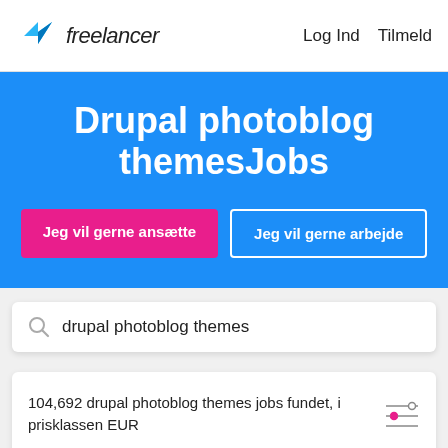freelancer   Log Ind   Tilmeld
Drupal photoblog themesJobs
Jeg vil gerne ansætte
Jeg vil gerne arbejde
drupal photoblog themes
104,692 drupal photoblog themes jobs fundet, i prisklassen EUR